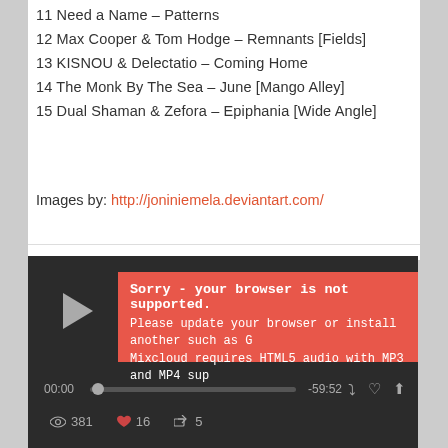11 Need a Name – Patterns
12 Max Cooper & Tom Hodge – Remnants [Fields]
13 KISNOU & Delectatio – Coming Home
14 The Monk By The Sea – June [Mango Alley]
15 Dual Shaman & Zefora – Epiphania [Wide Angle]
Images by: http://joniniemela.deviantart.com/
[Figure (screenshot): Mixcloud audio player widget with browser not supported error overlay. Shows play button, error message 'Sorry - your browser is not supported. Please update your browser or install another such as G... Mixcloud requires HTML5 audio with MP3 and MP4 sup...', progress bar showing 00:00 and -59:52, stats showing 381 listens, 16 favorites, 5 reposts, and info text 'This show features tracks by Adrian Newton, Adrian Lane, The Balustrade Ensemble, Need a Name, asukrai and more.']